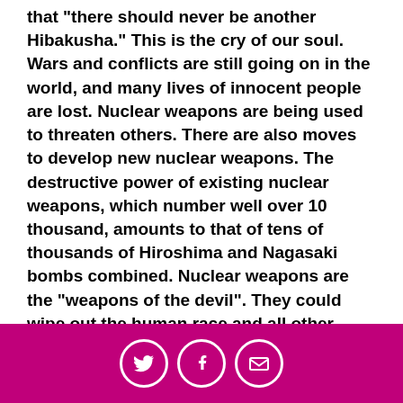that "there should never be another Hibakusha." This is the cry of our soul. Wars and conflicts are still going on in the world, and many lives of innocent people are lost. Nuclear weapons are being used to threaten others. There are also moves to develop new nuclear weapons. The destructive power of existing nuclear weapons, which number well over 10 thousand, amounts to that of tens of thousands of Hiroshima and Nagasaki bombs combined. Nuclear weapons are the "weapons of the devil". They could wipe out the human race and all other creatures. They could destroy the environment and turn the globe into a dead planet.
Human beings have prohibited the use, development, production, and possession of biological and chemical weapons by treaties and protocols. Why do we hesitate
[Figure (other): Magenta/pink footer bar with three circular white-bordered social media icons: Twitter bird, Facebook f, and envelope/email icon]